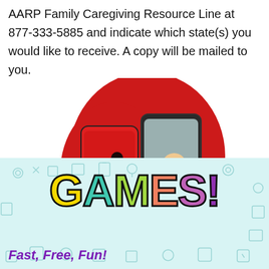AARP Family Caregiving Resource Line at 877-333-5885 and indicate which state(s) you would like to receive. A copy will be mailed to you.
[Figure (illustration): Illustration of two figures connecting through smartphone screens against a red blob background — one person in white on a red phone screen reaching toward another person in red on a dark phone screen]
[Figure (illustration): Colorful GAMES! logo text in large bold letters (G=yellow, A=teal, M=green, E=salmon/red, S=pink/purple, !=dark purple) on a light teal patterned background with small icon doodles]
Fast, Free, Fun!